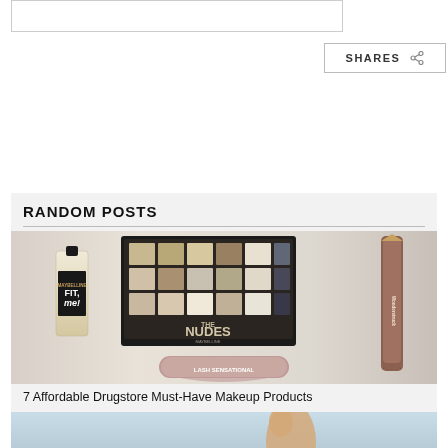[Figure (other): Top banner placeholder rectangle]
SHARES
RANDOM POSTS
[Figure (photo): Maybelline makeup products including Fit Me foundation, The Nudes eyeshadow palette, mascara, and lip/eye crayon]
7 Affordable Drugstore Must-Have Makeup Products
[Figure (photo): Second post image showing partial view of a person outdoors]